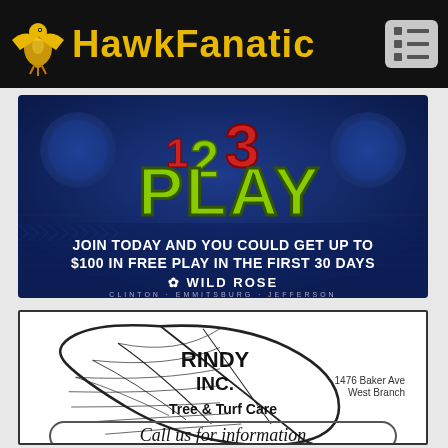HawkFanatic
[Figure (illustration): Wild Rose Casino advertisement: '123 PLAY' logo with text 'JOIN TODAY AND YOU COULD GET UP TO $100 IN FREE PLAY IN THE FIRST 30 DAYS', Wild Rose logo with CLINTON · EMMITSBURG · JEFFERSON]
[Figure (illustration): Rindy Inc. advertisement with leaf logo, text 'RINDY INC.', '1476 Baker Ave West Branch', 'Tree & Turf Care', 'Call us for information']